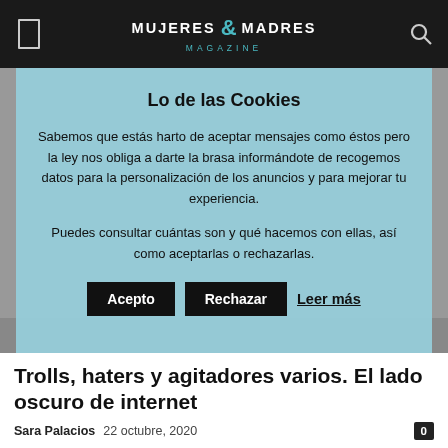MUJERES & MADRES MAGAZINE
Lo de las Cookies
Sabemos que estás harto de aceptar mensajes como éstos pero la ley nos obliga a darte la brasa informándote de recogemos datos para la personalización de los anuncios y para mejorar tu experiencia.
Puedes consultar cuántas son y qué hacemos con ellas, así como aceptarlas o rechazarlas.
Acepto  Rechazar  Leer más
Trolls, haters y agitadores varios. El lado oscuro de internet
Sara Palacios   22 octubre, 2020